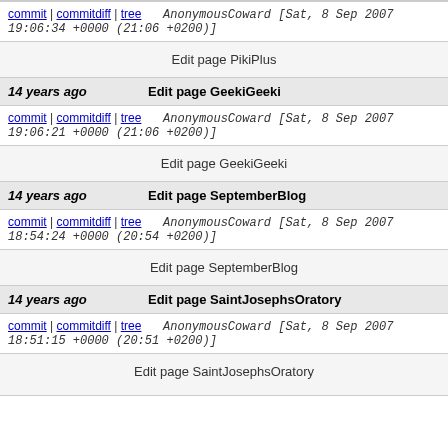commit | commitdiff | tree   AnonymousCoward [Sat, 8 Sep 2007 19:06:34 +0000 (21:06 +0200)]
Edit page PikiPlus
14 years ago   Edit page GeekiGeeki
commit | commitdiff | tree   AnonymousCoward [Sat, 8 Sep 2007 19:06:21 +0000 (21:06 +0200)]
Edit page GeekiGeeki
14 years ago   Edit page SeptemberBlog
commit | commitdiff | tree   AnonymousCoward [Sat, 8 Sep 2007 18:54:24 +0000 (20:54 +0200)]
Edit page SeptemberBlog
14 years ago   Edit page SaintJosephsOratory
commit | commitdiff | tree   AnonymousCoward [Sat, 8 Sep 2007 18:51:15 +0000 (20:51 +0200)]
Edit page SaintJosephsOratory